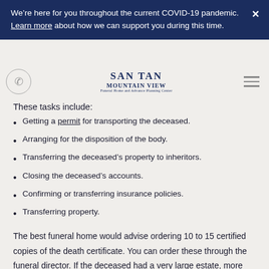We’re here for you throughout the current COVID-19 pandemic. Learn more about how we can support you during this time.
These tasks include:
[Figure (logo): San Tan Mountain View funeral home and advance planning center logo with phone icon and hamburger menu]
Getting a permit for transporting the deceased.
Arranging for the disposition of the body.
Transferring the deceased’s property to inheritors.
Closing the deceased’s accounts.
Confirming or transferring insurance policies.
Transferring property.
The best funeral home would advise ordering 10 to 15 certified copies of the death certificate. You can order these through the funeral director. If the deceased had a very large estate, more copies are recommended. If needed, you can order additional